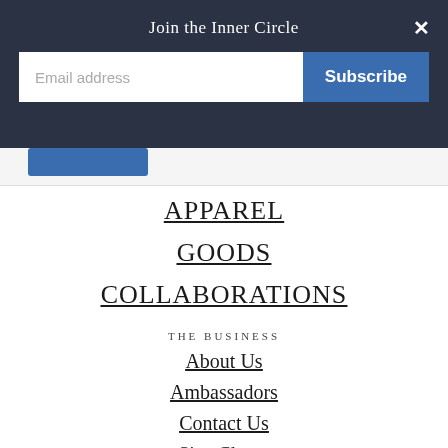Join the Inner Circle
Email address
Subscribe
APPAREL
GOODS
COLLABORATIONS
THE BUSINESS
About Us
Ambassadors
Contact Us
Size Charts
Sales & Discounts
Shipping & Handling